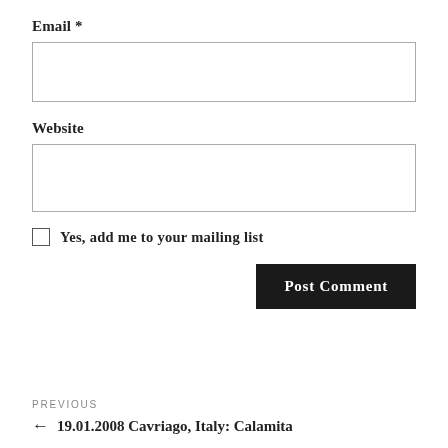Email *
Website
Yes, add me to your mailing list
Post Comment
PREVIOUS
← 19.01.2008 Cavriago, Italy: Calamita